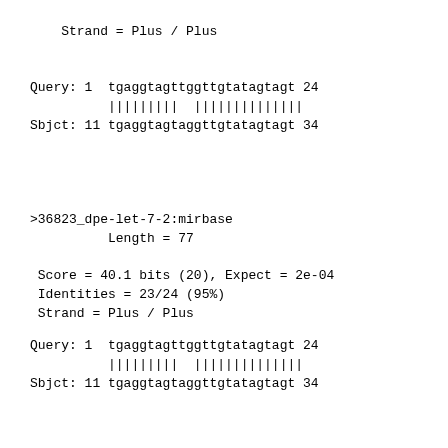Strand = Plus / Plus
Query: 1  tgaggtagttggttgtatagtagt 24
          |||||||||  ||||||||||||||
Sbjct: 11 tgaggtagtaggttgtatagtagt 34
>36823_dpe-let-7-2:mirbase
          Length = 77

 Score = 40.1 bits (20), Expect = 2e-04
 Identities = 23/24 (95%)
 Strand = Plus / Plus
Query: 1  tgaggtagttggttgtatagtagt 24
          |||||||||  ||||||||||||||
Sbjct: 11 tgaggtagtaggttgtatagtagt 34
>36809_dpe-let-7:mirbase